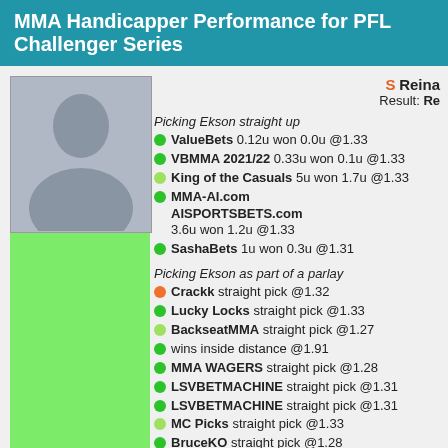MMA Handicapper Performance for PFL Challenger Series
[Figure (photo): Silhouette placeholder avatar image of a person]
S Reina
Result: Re
Picking Ekson straight up
● ValueBets 0.12u won 0.0u @1.33
● VBMMA 2021/22 0.33u won 0.1u @1.33
● King of the Casuals 5u won 1.7u @1.33
● MMA-AI.com AISPORTSBETS.com 3.6u won 1.2u @1.33
● SashaBets 1u won 0.3u @1.31

Picking Ekson as part of a parlay
● Crackk straight pick @1.32
● Lucky Locks straight pick @1.33
● BackseatMMA straight pick @1.27
● wins inside distance @1.91
● MMA WAGERS straight pick @1.28
● LSVBETMACHINE straight pick @1.31
● LSVBETMACHINE straight pick @1.31
● MC Picks straight pick @1.33
● BruceKO straight pick @1.28
● MMA ELO straight pick @1.28
● BruceKO wins by submission @2.15